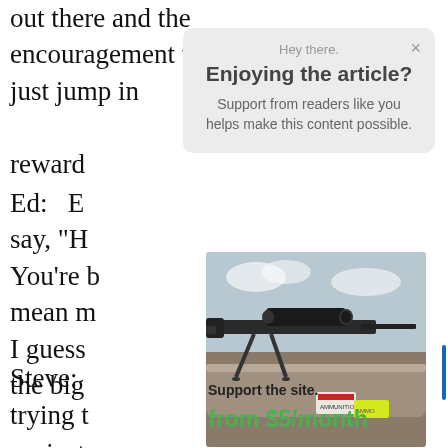out there and the encouragement to just jump in reward
Ed: E say, "H You're b mean m I guess the big
[Figure (screenshot): Modal popup overlay on article page with 'Hey there. Enjoying the article? Support from readers like you helps make this content possible.' and a close X button]
[Figure (photo): Photograph of a black precision rifle with bipod and scope resting on a log, with ammunition boxes visible in background]
Steve: trying to project
Support the site.
from $5/month